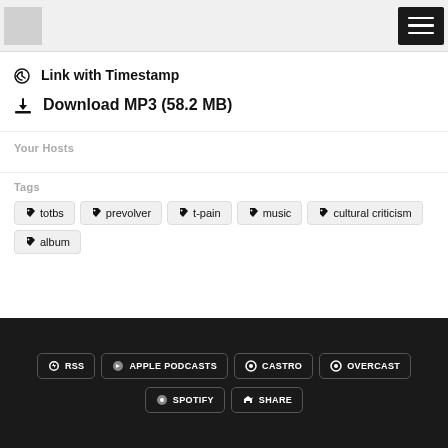Logo and navigation menu
Link with Timestamp
Download MP3 (58.2 MB)
Your Hosts
Tags
totbs
prevolver
t-pain
music
cultural criticism
album
RSS  APPLE PODCASTS  CASTRO  OVERCAST  SPOTIFY  SHARE